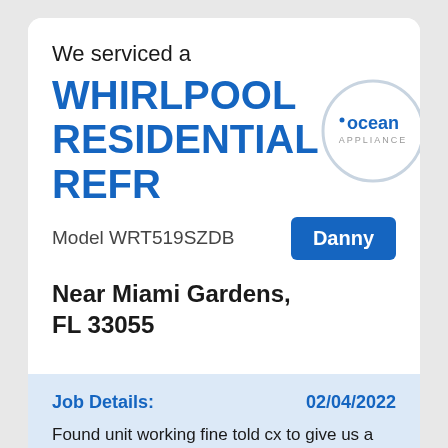We serviced a
WHIRLPOOL RESIDENTIAL REFR
[Figure (logo): Ocean Appliance circular logo with blue text 'ocean' and gray 'APPLIANCE' text inside a light gray circle outline]
Model WRT519SZDB
Danny
Near Miami Gardens, FL 33055
Job Details:
02/04/2022
Found unit working fine told cx to give us a call if problem returns